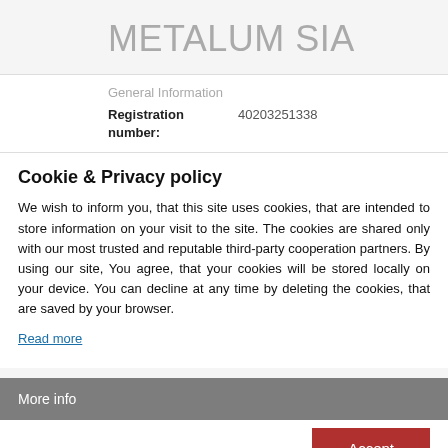METALUM SIA
General Information
Registration number: 40203251338
Cookie & Privacy policy
We wish to inform you, that this site uses cookies, that are intended to store information on your visit to the site. The cookies are shared only with our most trusted and reputable third-party cooperation partners. By using our site, You agree, that your cookies will be stored locally on your device. You can decline at any time by deleting the cookies, that are saved by your browser.
Read more
More info
Accept